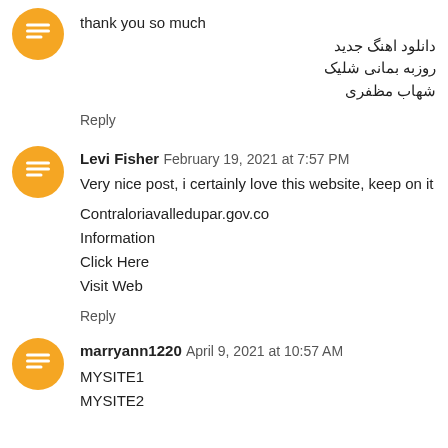thank you so much
دانلود اهنگ جدید
روزبه بمانی شلیک
شهاب مظفری
Reply
Levi Fisher  February 19, 2021 at 7:57 PM
Very nice post, i certainly love this website, keep on it
Contraloriavalledupar.gov.co
Information
Click Here
Visit Web
Reply
marryann1220  April 9, 2021 at 10:57 AM
MYSITE1
MYSITE2